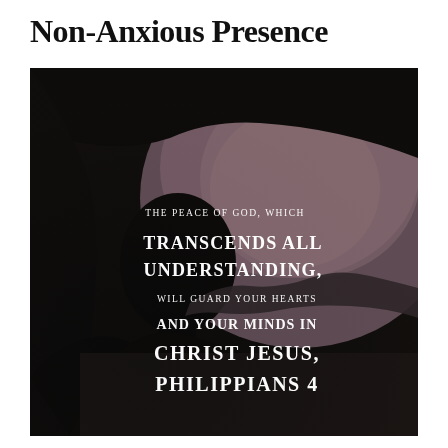Non-Anxious Presence
[Figure (photo): A dark silhouette of a person viewed from behind, looking out through a car window or opening at a dusky/dusk landscape with hills in the background and a pinkish-purple sky. Overlaid on the right side of the image is white text reading: THE PEACE OF GOD, WHICH TRANSCENDS ALL UNDERSTANDING, WILL GUARD YOUR HEARTS AND YOUR MINDS IN CHRIST JESUS. PHILIPPIANS 4]